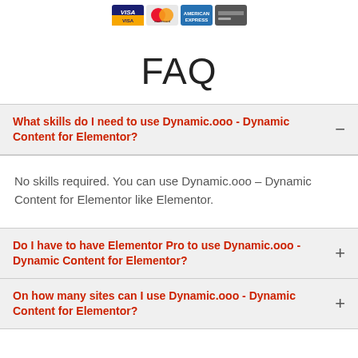[Figure (illustration): Payment card icons: Visa, Mastercard, American Express, and a generic card]
FAQ
What skills do I need to use Dynamic.ooo - Dynamic Content for Elementor?
No skills required. You can use Dynamic.ooo – Dynamic Content for Elementor like Elementor.
Do I have to have Elementor Pro to use Dynamic.ooo - Dynamic Content for Elementor?
On how many sites can I use Dynamic.ooo - Dynamic Content for Elementor?